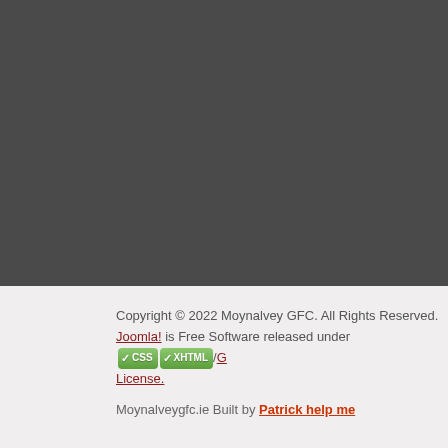[Figure (screenshot): Dark grey background section occupying the upper portion of the page]
Copyright © 2022 Moynalvey GFC. All Rights Reserved. Joomla! is Free Software released under the GNU/GPL License.
Moynalveygfc.ie Built by Patrick help me